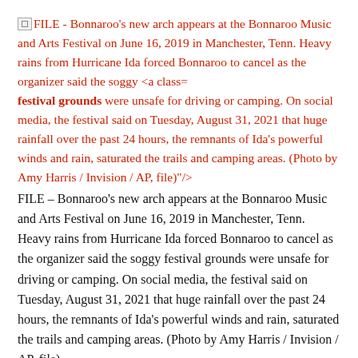FILE - Bonnaroo's new arch appears at the Bonnaroo Music and Arts Festival on June 16, 2019 in Manchester, Tenn. Heavy rains from Hurricane Ida forced Bonnaroo to cancel as the organizer said the soggy <a class= festival grounds were unsafe for driving or camping. On social media, the festival said on Tuesday, August 31, 2021 that huge rainfall over the past 24 hours, the remnants of Ida's powerful winds and rain, saturated the trails and camping areas. (Photo by Amy Harris / Invision / AP, file)"/>
FILE – Bonnaroo's new arch appears at the Bonnaroo Music and Arts Festival on June 16, 2019 in Manchester, Tenn. Heavy rains from Hurricane Ida forced Bonnaroo to cancel as the organizer said the soggy festival grounds were unsafe for driving or camping. On social media, the festival said on Tuesday, August 31, 2021 that huge rainfall over the past 24 hours, the remnants of Ida's powerful winds and rain, saturated the trails and camping areas. (Photo by Amy Harris / Invision / AP, file)
NASHVILLE, Tennessee (AP) – Heavy rains from Hurricane Ida forced